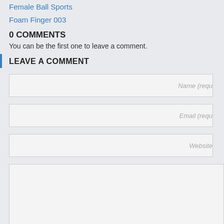Female Ball Sports
Foam Finger 003
0 COMMENTS
You can be the first one to leave a comment.
LEAVE A COMMENT
Name (requ
Email (requ
Website